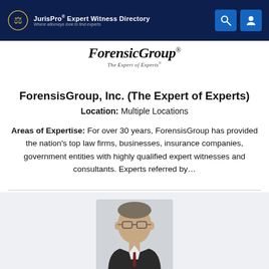JurisPro Expert Witness Directory — Where attorneys look to find experts
[Figure (logo): ForensisGroup — The Expert of Experts logo]
ForensisGroup, Inc. (The Expert of Experts)
Location: Multiple Locations
Areas of Expertise: For over 30 years, ForensisGroup has provided the nation's top law firms, businesses, insurance companies, government entities with highly qualified expert witnesses and consultants. Experts referred by…
[Figure (photo): Headshot of a middle-aged man with glasses wearing a dark suit and tie]